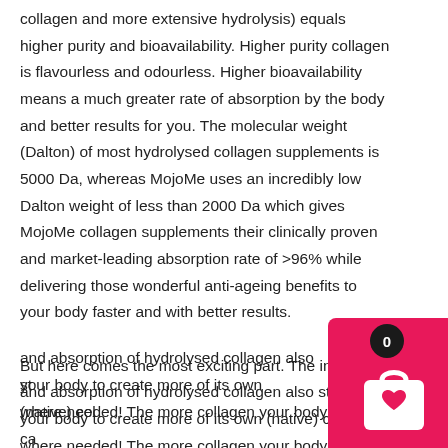collagen and more extensive hydrolysis) equals higher purity and bioavailability. Higher purity collagen is flavourless and odourless. Higher bioavailability means a much greater rate of absorption by the body and better results for you. The molecular weight (Dalton) of most hydrolysed collagen supplements is 5000 Da, whereas MojoMe uses an incredibly low Dalton weight of less than 2000 Da which gives MojoMe collagen supplements their clinically proven and market-leading absorption rate of >96% while delivering those wonderful anti-ageing benefits to your body faster and with better results.

But here comes the most exciting part. The ingestion and absorption of hydrolysed collagen also stimulates your body to create more of its own (native) collagen where needed! The more collagen your body ca
[Figure (other): Shopping cart icon overlay in bottom-right corner. Pink/magenta rounded rectangle background with a black circular badge showing '0' and a white shopping bag with heart icon.]